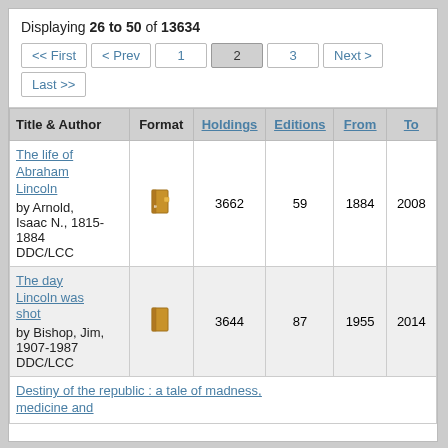Displaying 26 to 50 of 13634
| Title & Author | Format | Holdings | Editions | From | To |
| --- | --- | --- | --- | --- | --- |
| The life of Abraham Lincoln
by Arnold, Isaac N., 1815-1884
DDC/LCC | [book icon] | 3662 | 59 | 1884 | 2008 |
| The day Lincoln was shot
by Bishop, Jim, 1907-1987
DDC/LCC | [book icon] | 3644 | 87 | 1955 | 2014 |
| Destiny of the republic : a tale of madness, medicine and... |  |  |  |  |  |